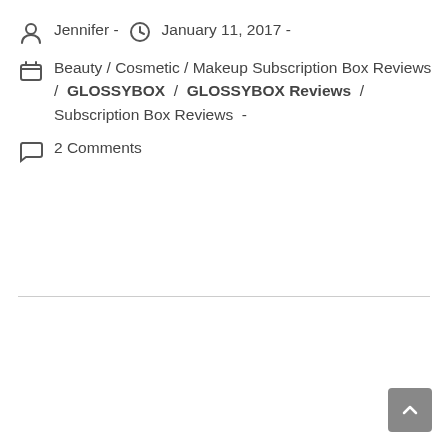Jennifer - January 11, 2017 -
Beauty / Cosmetic / Makeup Subscription Box Reviews / GLOSSYBOX / GLOSSYBOX Reviews / Subscription Box Reviews -
2 Comments